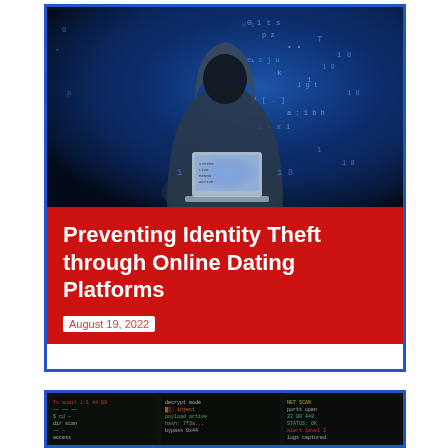[Figure (photo): Hooded hacker figure with digital code overlay on blue background, working on a laptop]
Preventing Identity Theft through Online Dating Platforms
August 19, 2022
[Figure (photo): Dark terminal/code screen with multiple panels of green and colored text on black background]